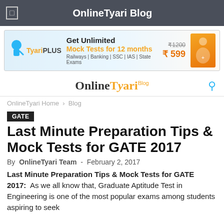OnlineTyari Blog
[Figure (infographic): TyariPLUS advertisement banner: Get Unlimited Mock Tests for 12 months. Railways | Banking | SSC | IAS | State Exams. Price ₹1200 (struck through) ₹599]
[Figure (logo): OnlineTyari Blog logo with search icon]
OnlineTyari Home › Blog
GATE
Last Minute Preparation Tips & Mock Tests for GATE 2017
By OnlineTyari Team - February 2, 2017
Last Minute Preparation Tips & Mock Tests for GATE 2017: As we all know that, Graduate Aptitude Test in Engineering is one of the most popular exams among students aspiring to seek